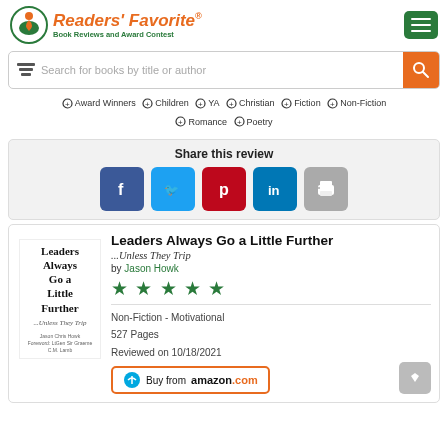[Figure (logo): Readers' Favorite logo with book icon and tagline 'Book Reviews and Award Contest']
Search for books by title or author
Award Winners  Children  YA  Christian  Fiction  Non-Fiction  Romance  Poetry
Share this review
[Figure (infographic): Social share buttons: Facebook, Twitter, Pinterest, LinkedIn, Print]
Leaders Always Go a Little Further
...Unless They Trip
by Jason Howk
[Figure (other): Five green stars rating]
Non-Fiction - Motivational
527 Pages
Reviewed on 10/18/2021
[Figure (other): Buy from amazon.com button]